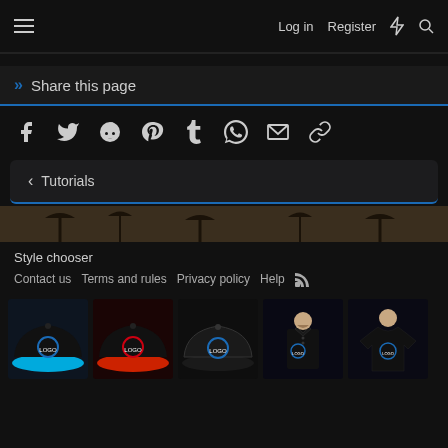Log in   Register
» Share this page
[Figure (infographic): Social share icons: Facebook, Twitter, Reddit, Pinterest, Tumblr, WhatsApp, Email, Link]
‹ Tutorials
[Figure (photo): Dark hero banner strip with tree silhouettes]
Style chooser
Contact us   Terms and rules   Privacy policy   Help
[Figure (photo): Merchandise row showing five items: black/blue snapback hat, black/red snapback hat, black dad hat, black polo shirt, black t-shirt — all with forum logo]